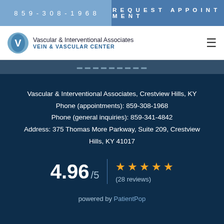859-308-1968  REQUEST APPOINTMENT
[Figure (logo): Vascular & Interventional Associates Vein & Vascular Center logo with blue oval icon]
Vascular & Interventional Associates, Crestview Hills, KY
Phone (appointments): 859-308-1968
Phone (general inquiries): 859-341-4842
Address: 375 Thomas More Parkway, Suite 209, Crestview Hills, KY 41017
4.96 / 5  ★★★★★  (28 reviews)
powered by PatientPop